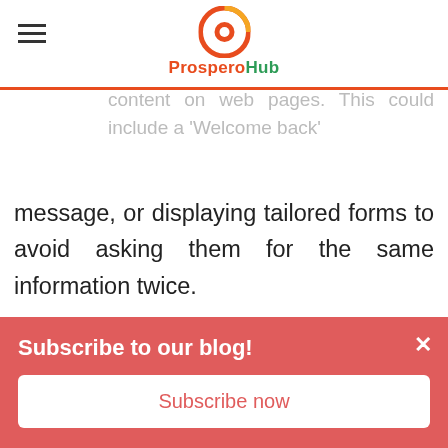ProsproHub logo and navigation
contacts are re-visiting your website, and to personalise their experience with tailored pop-up forms or smart content on web pages. This could include a 'Welcome back' message, or displaying tailored forms to avoid asking them for the same information twice.
In addition, sending offers and content to customers after they have bought from you is a useful way to not only continue to provide value to them after their purchase to maintain your positive relationship, but it also
Subscribe to our blog!
Subscribe now